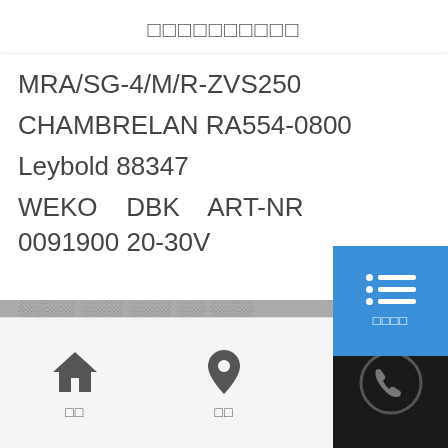□□□□□□□□□□
MRA/SG-4/M/R-ZVS250
CHAMBRELAN RA554-0800
Leybold 88347
WEKO   DBK   ART-NR
0091900 20-30V
[Figure (screenshot): Blue menu button overlay with list icon and label characters]
[Figure (screenshot): Dark panel with phone/call icon at bottom right]
□□  □□  □□